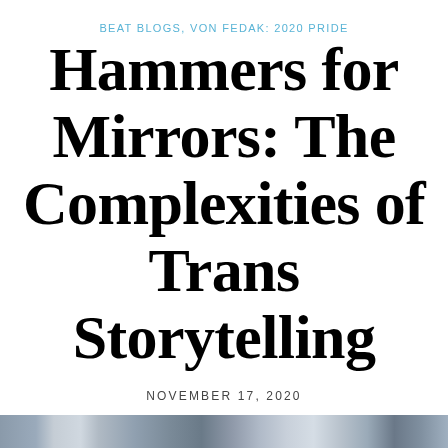BEAT BLOGS, VON FEDAK: 2020 PRIDE
Hammers for Mirrors: The Complexities of Trans Storytelling
NOVEMBER 17, 2020
[Figure (photo): Blurred/abstract dark background image strip at the bottom of the page]